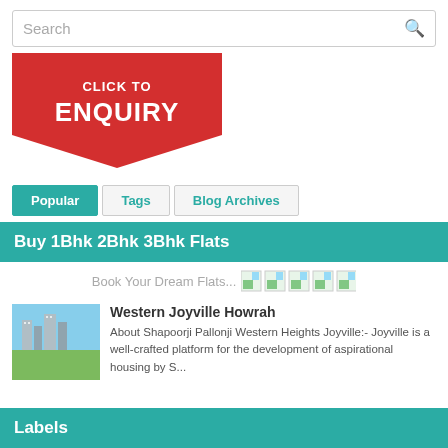Search
[Figure (illustration): Red banner with text CLICK TO ENQUIRY in white, shaped like a downward pointing tag]
Popular | Tags | Blog Archives
Buy 1Bhk 2Bhk 3Bhk Flats
Book Your Dream Flats...
Western Joyville Howrah
About Shapoorji Pallonji Western Heights Joyville:- Joyville is a well-crafted platform for the development of aspirational housing by S...
Labels